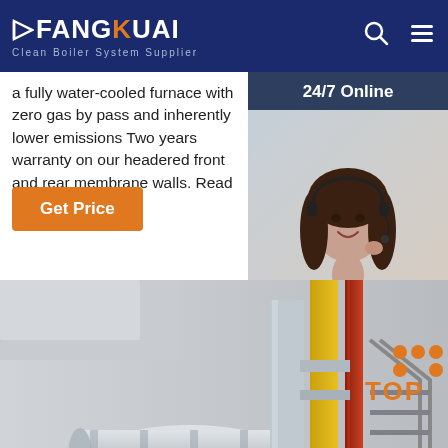FANGKUAI — Clean Boiler System Supplier
a fully water-cooled furnace with zero gas by pass and inherently lower emissions Two years warranty on our headered front and rear membrane walls. Read ...
[Figure (photo): Customer service agent with headset, smiling, with 24/7 Online badge and chat/quotation overlay panel]
[Figure (photo): Industrial boiler room with large cylindrical boiler, pipes in yellow, red, and silver, and TOP branding in bottom right]